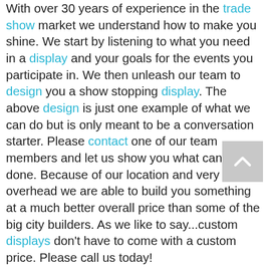With over 30 years of experience in the trade show market we understand how to make you shine. We start by listening to what you need in a display and your goals for the events you participate in. We then unleash our team to design you a show stopping display. The above design is just one example of what we can do but is only meant to be a conversation starter. Please contact one of our team members and let us show you what can be done. Because of our location and very low overhead we are able to build you something at a much better overall price than some of the big city builders. As we like to say...custom displays don't have to come with a custom price. Please call us today!